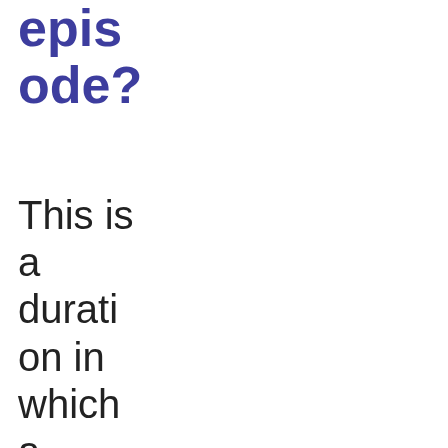episode?
This is a duration in which a person suffers from a depressed mood or a deep unwavering